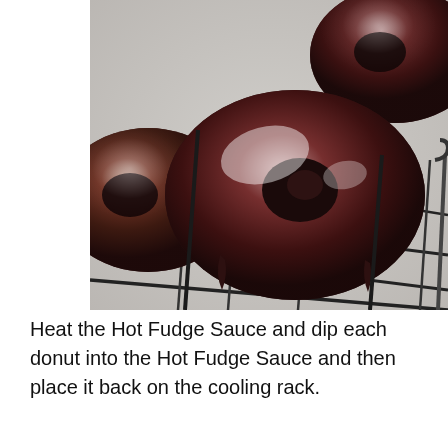[Figure (photo): Close-up photograph of chocolate-glazed donuts with shiny hot fudge sauce coating, resting on a wire cooling rack against a light grey background.]
Heat the Hot Fudge Sauce and dip each donut into the Hot Fudge Sauce and then place it back on the cooling rack.